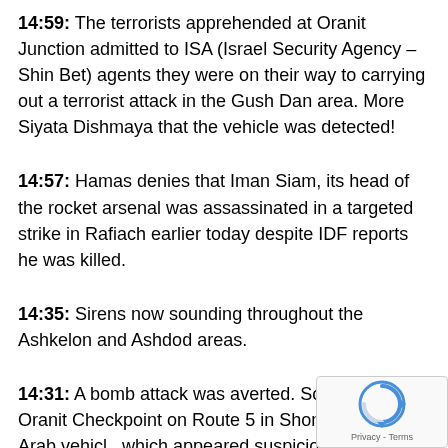14:59: The terrorists apprehended at Oranit Junction admitted to ISA (Israel Security Agency – Shin Bet) agents they were on their way to carrying out a terrorist attack in the Gush Dan area. More Siyata Dishmaya that the vehicle was detected!
14:57: Hamas denies that Iman Siam, its head of the rocket arsenal was assassinated in a targeted strike in Rafiach earlier today despite IDF reports he was killed.
14:35: Sirens now sounding throughout the Ashkelon and Ashdod areas.
14:31: A bomb attack was averted. Soldiers at Oranit Checkpoint on Route 5 in Shomron saw an Arab vehicle which appeared suspicious. The vehicle was heading Shomron to inside Green Line Israel, the Gush Dan ar...